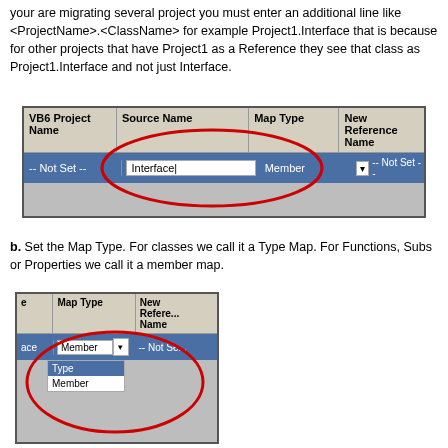your are migrating several project you must enter an additional line like <ProjectName>.<ClassName> for example Project1.Interface that is because for other projects that have Project1 as a Reference they see that class as Project1.Interface and not just Interface.
[Figure (screenshot): Table UI screenshot showing VB6 Project Name, Source Name, Map Type, New Reference Name columns. Row has '-- Not Set --', 'Interface' text input, 'Member' dropdown, '-- Not Set --'. Red oval highlights the Source Name field.]
b. Set the Map Type. For classes we call it a Type Map. For Functions, Subs or Properties we call it a member map.
[Figure (screenshot): Table UI screenshot showing Map Type and New Reference Name columns. A dropdown is open showing 'Type' (highlighted) and 'Member' options. Red oval highlights the Map Type dropdown area.]